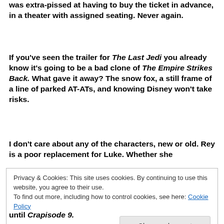was extra-pissed at having to buy the ticket in advance, in a theater with assigned seating. Never again.
If you've seen the trailer for The Last Jedi you already know it's going to be a bad clone of The Empire Strikes Back. What gave it away? The snow fox, a still frame of a line of parked AT-ATs, and knowing Disney won't take risks.
I don't care about any of the characters, new or old. Rey is a poor replacement for Luke. Whether she
Privacy & Cookies: This site uses cookies. By continuing to use this website, you agree to their use.
To find out more, including how to control cookies, see here: Cookie Policy
until Crapisode 9.